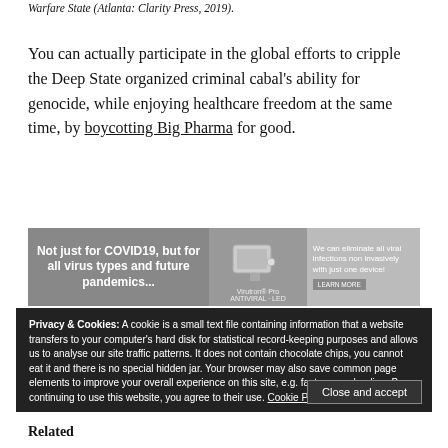Warfare State (Atlanta: Clarity Press, 2019).
You can actually participate in the global efforts to cripple the Deep State organized criminal cabal's ability for genocide, while enjoying healthcare freedom at the same time, by boycotting Big Pharma for good.
[Figure (screenshot): Advertisement banner for Virutron Pro antiviral device: 'Not just for COVID19, but for all virus types and future pandemics...' with an image of a medical device and text 'We can eliminate all viral infections non invasively with just one device! LEARN MORE']
Privacy & Cookies: A cookie is a small text file containing information that a website transfers to your computer's hard disk for statistical record-keeping purposes and allows us to analyse our site traffic patterns. It does not contain chocolate chips, you cannot eat it and there is no special hidden jar. Your browser may also save common page elements to improve your overall experience on this site, e.g. faster page loading. By continuing to use this website, you agree to their use. Cookie Policy
Close and accept
Related